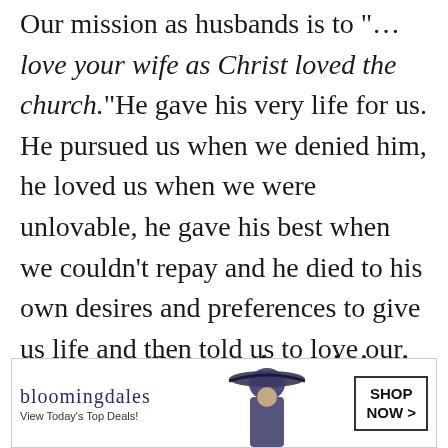Our mission as husbands is to "…love your wife as Christ loved the church." He gave his very life for us. He pursued us when we denied him, he loved us when we were unlovable, he gave his best when we couldn't repay and he died to his own desires and preferences to give us life and then told us to love our wives with that same kind of love. That's humbling, and doing the same requires a lot of submission on our parts.
Our marriage mission is not
[Figure (screenshot): Bloomingdale's advertisement banner: logo, tagline 'View Today's Top Deals!', image of woman in hat, and 'SHOP NOW >' button]